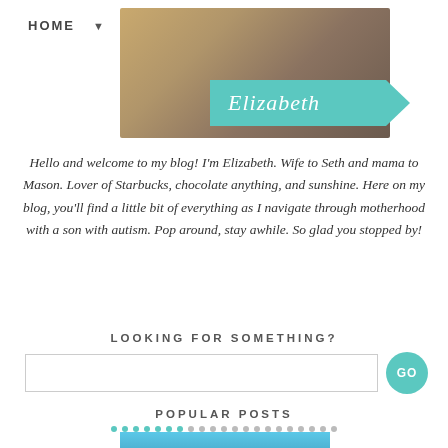HOME ▼
[Figure (photo): Photo of Elizabeth — woman wearing knit sweater outdoors with a teal arrow banner reading 'Elizabeth']
Hello and welcome to my blog! I'm Elizabeth. Wife to Seth and mama to Mason. Lover of Starbucks, chocolate anything, and sunshine. Here on my blog, you'll find a little bit of everything as I navigate through motherhood with a son with autism. Pop around, stay awhile. So glad you stopped by!
LOOKING FOR SOMETHING?
[Figure (screenshot): Search input box with a teal GO button]
POPULAR POSTS
[Figure (other): Row of teal and gray dots (pagination indicator) and a partial blue image below]